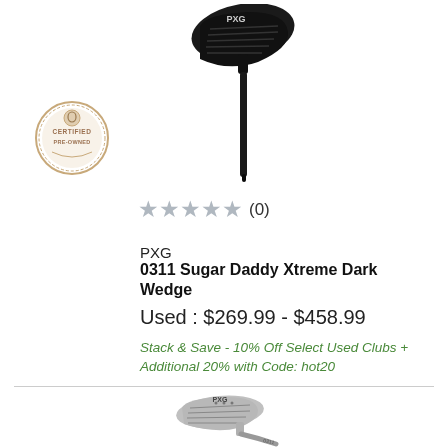[Figure (photo): Black PXG 0311 Sugar Daddy Xtreme Dark Wedge golf club head, angled view from the face side, matte black finish]
[Figure (logo): Certified Pre-Owned circular badge/seal in beige/gold color]
★★★★★ (0)
PXG
0311 Sugar Daddy Xtreme Dark Wedge
Used : $269.99 - $458.99
Stack & Save - 10% Off Select Used Clubs + Additional 20% with Code: hot20
[Figure (photo): Silver/chrome PXG wedge golf club, angled view showing the face and shaft, with PXG branding visible]